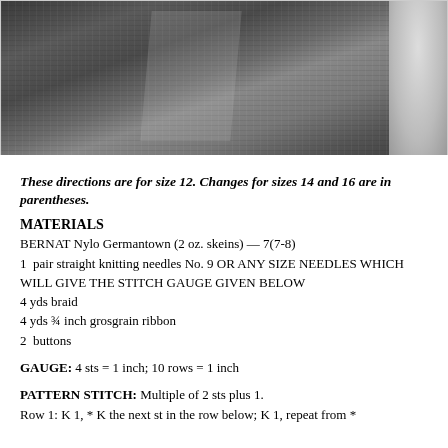[Figure (photo): Black and white photograph of a woman wearing a knitted jacket/cardigan with garter stitch texture and button closures. Partial second image visible at upper right showing a close-up detail.]
These directions are for size 12. Changes for sizes 14 and 16 are in parentheses.
MATERIALS
BERNAT Nylo Germantown (2 oz. skeins) — 7(7-8)
1  pair straight knitting needles No. 9 OR ANY SIZE NEEDLES WHICH WILL GIVE THE STITCH GAUGE GIVEN BELOW
4 yds braid
4 yds ¾ inch grosgrain ribbon
2  buttons
GAUGE: 4 sts = 1 inch; 10 rows = 1 inch
PATTERN STITCH: Multiple of 2 sts plus 1.
Row 1: K 1, * K the next st in the row below; K 1, repeat from *